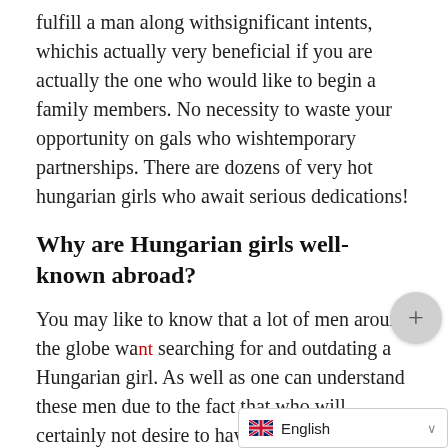fulfill a man along withsignificant intents, whichis actually very beneficial if you are actually the one who would like to begin a family members. No necessity to waste your opportunity on gals who wishtemporary partnerships. There are dozens of very hot hungarian girls who await serious dedications!
Why are Hungarian girls well-known abroad?
You may like to know that a lot of men around the globe want searching for and outdating a Hungarian girl. As well as one can understand these men due to the fact that who will certainly not desire to have a lovely, dedicated, and proficient new bride as well as girlfriend. This overview discovers various characteristics and also highqualities that make Hungary girls very pleasing and also tempting. Below, you may view 2 very most common elements that urge Western side men to start dating a girl coming from this magnificant